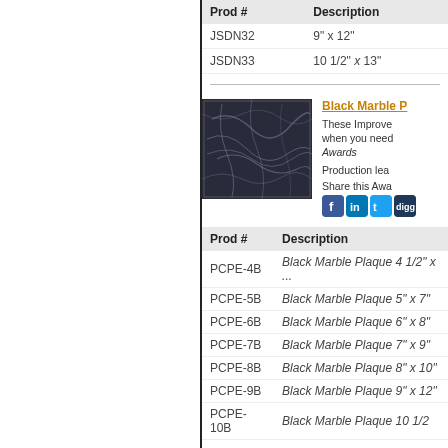| Prod # | Description |
| --- | --- |
| JSDN32 | 9" x 12" |
| JSDN33 | 10 1/2" x 13" |
[Figure (photo): Black marble plaque product photo showing dark stone with white veining pattern]
Black Marble P...
These Improve... when you need... Awards
Production lea...
Share this Awa...
| Prod # | Description |
| --- | --- |
| PCPE-4B | Black Marble Plaque 4 1/2" x ... |
| PCPE-5B | Black Marble Plaque 5" x 7" |
| PCPE-6B | Black Marble Plaque 6" x 8" |
| PCPE-7B | Black Marble Plaque 7" x 9" |
| PCPE-8B | Black Marble Plaque 8" x 10" |
| PCPE-9B | Black Marble Plaque 9" x 12" |
| PCPE-10B | Black Marble Plaque 10 1/2... |